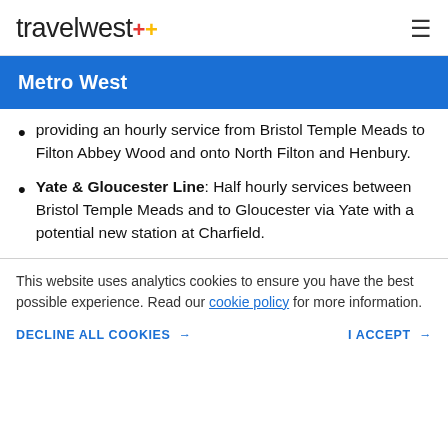travelwest+ [logo] [hamburger menu]
Metro West
providing an hourly service from Bristol Temple Meads to Filton Abbey Wood and onto North Filton and Henbury.
Yate & Gloucester Line: Half hourly services between Bristol Temple Meads and to Gloucester via Yate with a potential new station at Charfield.
This website uses analytics cookies to ensure you have the best possible experience. Read our cookie policy for more information.
DECLINE ALL COOKIES → I ACCEPT →